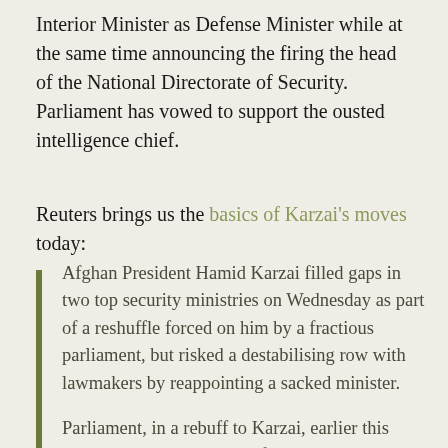Interior Minister as Defense Minister while at the same time announcing the firing the head of the National Directorate of Security. Parliament has vowed to support the ousted intelligence chief.
Reuters brings us the basics of Karzai's moves today:
Afghan President Hamid Karzai filled gaps in two top security ministries on Wednesday as part of a reshuffle forced on him by a fractious parliament, but risked a destabilising row with lawmakers by reappointing a sacked minister.
Parliament, in a rebuff to Karzai, earlier this month voted to remove Defence Minister Abdul Rahim Wardak